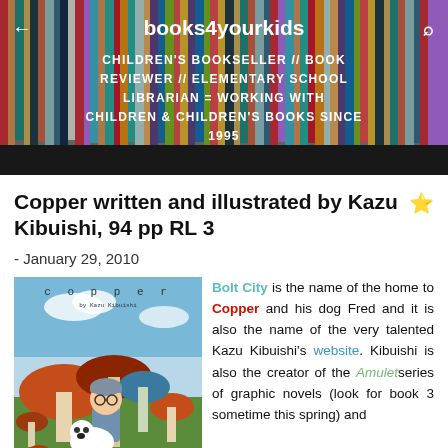books4yourkids
CHILDREN'S BOOKSELLER // BOOK REVIEWER // ELEMENTARY SCHOOL LIBRARIAN = WORKING WITH CHILDREN & CHILDREN'S BOOKS SINCE 1995
Copper written and illustrated by Kazu Kibuishi, 94 pp RL 3
- January 29, 2010
[Figure (illustration): Book cover of Copper by Kazu Kibuishi showing a boy with glasses and a white dog among giant mushrooms]
Bolt City is the name of the home to Copper and his dog Fred and it is also the name of the very talented Kazu Kibuishi's website. Kibuishi is also the creator of the Amulet series of graphic novels (look for book 3 sometime this spring) and